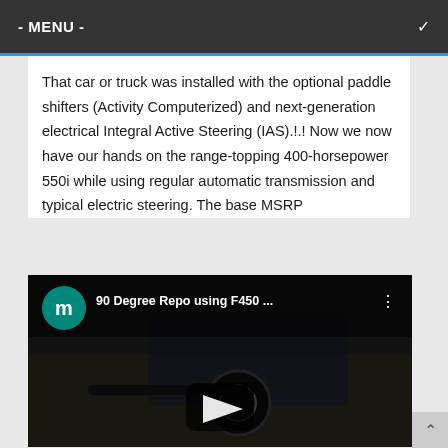- MENU -
That car or truck was installed with the optional paddle shifters (Activity Computerized) and next-generation electrical Integral Active Steering (IAS).!.! Now we now have our hands on the range-topping 400-horsepower 550i while using regular automatic transmission and typical electric steering. The base MSRP
[Figure (screenshot): YouTube video thumbnail showing '90 Degree Repo using F450 ...' with a dark video frame showing a car being towed, a green avatar circle with letter 'm', and a play button in the center.]